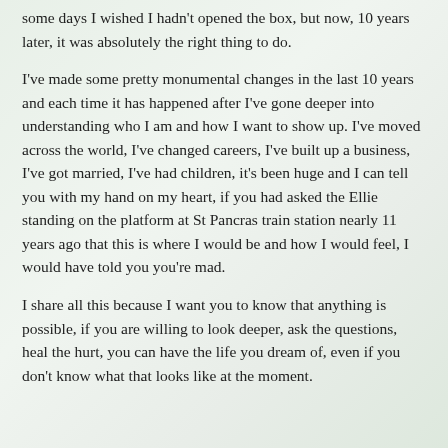some days I wished I hadn't opened the box, but now, 10 years later, it was absolutely the right thing to do.
I've made some pretty monumental changes in the last 10 years and each time it has happened after I've gone deeper into understanding who I am and how I want to show up. I've moved across the world, I've changed careers, I've built up a business, I've got married, I've had children, it's been huge and I can tell you with my hand on my heart, if you had asked the Ellie standing on the platform at St Pancras train station nearly 11 years ago that this is where I would be and how I would feel, I would have told you you're mad.
I share all this because I want you to know that anything is possible, if you are willing to look deeper, ask the questions, heal the hurt, you can have the life you dream of, even if you don't know what that looks like at the moment.